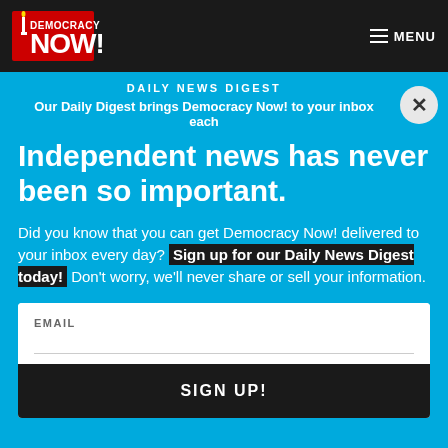Democracy Now! — MENU
DAILY NEWS DIGEST
Our Daily Digest brings Democracy Now! to your inbox each
Independent news has never been so important.
Did you know that you can get Democracy Now! delivered to your inbox every day? Sign up for our Daily News Digest today! Don't worry, we'll never share or sell your information.